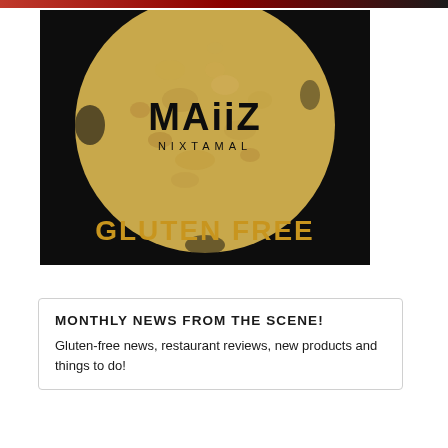[Figure (photo): Product image of MAiiZ NIXTAMAL tortilla chip on black background with 'GLUTEN FREE' text in gold letters at the bottom. A round corn chip with 'MAiiZ NIXTAMAL' text is shown against a dark background.]
MONTHLY NEWS FROM THE SCENE!
Gluten-free news, restaurant reviews, new products and things to do!